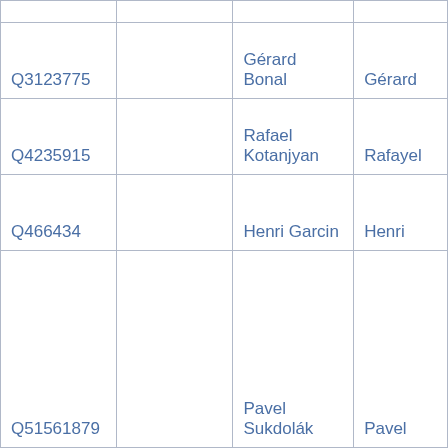|  |  |  |  |
| Q3123775 |  | Gérard Bonal | Gérard |
| Q4235915 |  | Rafael Kotanjyan | Rafayel |
| Q466434 |  | Henri Garcin | Henri |
| Q51561879 |  | Pavel Sukdolák | Pavel |